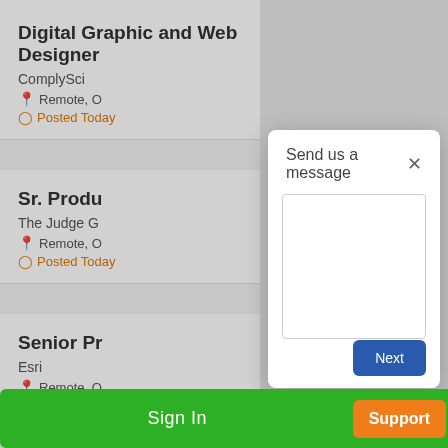Digital Graphic and Web Designer
ComplySci
Remote, O
Posted Today
Sr. Produ
The Judge G
Remote, O
Posted Today
Senior Pr
Esri
Remote, O
Posted Today
Send us a message
[Figure (screenshot): Empty message text area input field]
Next
Sign In
Support